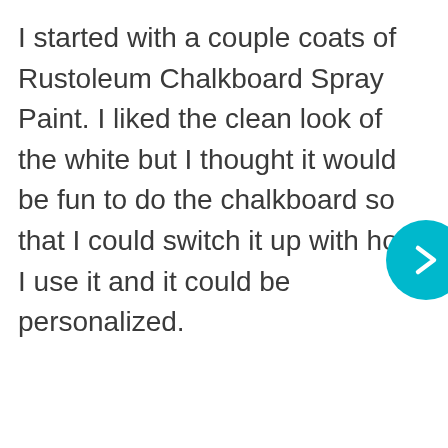I started with a couple coats of Rustoleum Chalkboard Spray Paint. I liked the clean look of the white but I thought it would be fun to do the chalkboard so that I could switch it up with how I use it and it could be personalized.
[Figure (other): Teal/cyan circular navigation button with a right-pointing chevron arrow, partially visible at the right edge of the page.]